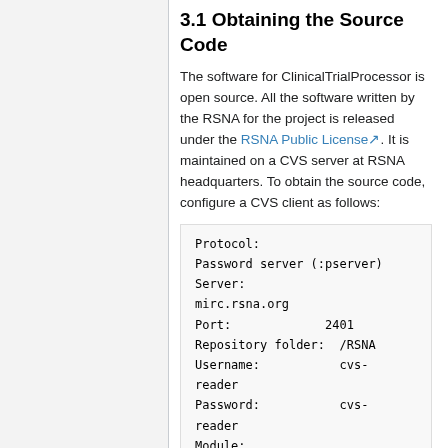3.1 Obtaining the Source Code
The software for ClinicalTrialProcessor is open source. All the software written by the RSNA for the project is released under the RSNA Public License. It is maintained on a CVS server at RSNA headquarters. To obtain the source code, configure a CVS client as follows:
Protocol:
Password server (:pserver)
Server:
mirc.rsna.org
Port:                2401
Repository folder:   /RSNA
Username:            cvs-reader
Password:            cvs-reader
Module:
ClinicalTrialProcessor